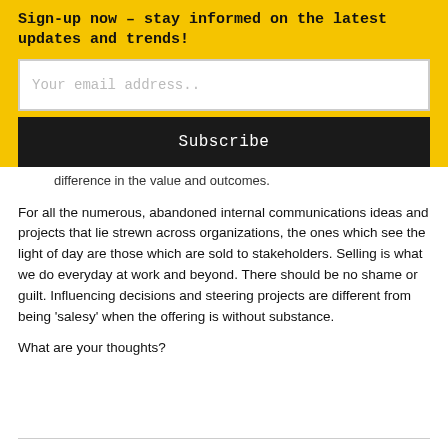Sign-up now – stay informed on the latest updates and trends!
Your email address..
Subscribe
difference in the value and outcomes.
For all the numerous, abandoned internal communications ideas and projects that lie strewn across organizations, the ones which see the light of day are those which are sold to stakeholders. Selling is what we do everyday at work and beyond. There should be no shame or guilt. Influencing decisions and steering projects are different from being ‘salesy’ when the offering is without substance.
What are your thoughts?